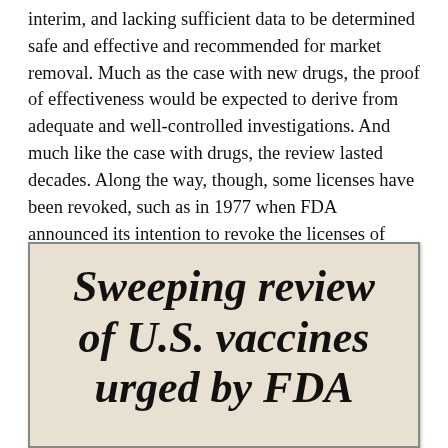interim, and lacking sufficient data to be determined safe and effective and recommended for market removal. Much as the case with new drugs, the proof of effectiveness would be expected to derive from adequate and well-controlled investigations. And much like the case with drugs, the review lasted decades. Along the way, though, some licenses have been revoked, such as in 1977 when FDA announced its intention to revoke the licenses of eight skin tests for tuberculosis, diphtheria, and other diseases and conditions.
[Figure (photo): Newspaper clipping showing headline text 'Sweeping review of U.S. vaccines urged by FDA' in large bold italic serif font on a yellowed/aged newspaper background.]